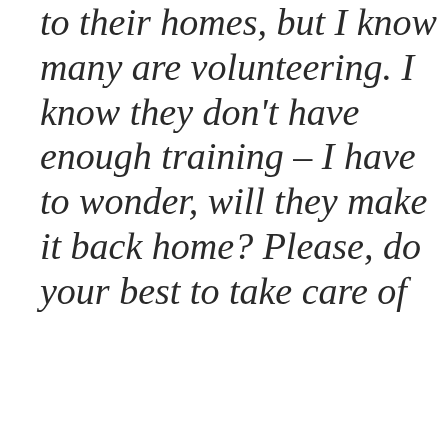to their homes, but I know many are volunteering. I know they don't have enough training – I have to wonder, will they make it back home? Please, do your best to take care of